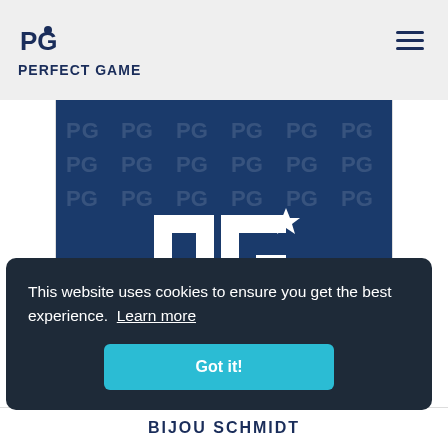PERFECT GAME
[Figure (logo): Perfect Game logo on dark blue background with repeated PG watermark pattern and large white PG monogram in center, with PERFECT GAME text at bottom]
This website uses cookies to ensure you get the best experience. Learn more
Got it!
BIJOU SCHMIDT